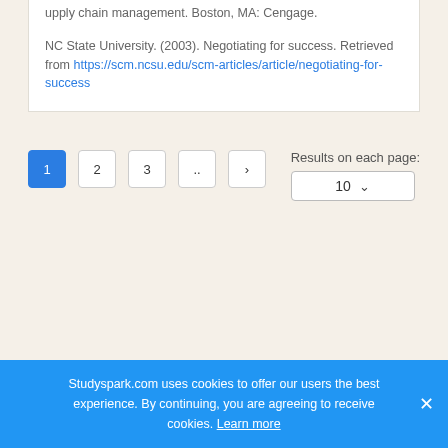upply chain management. Boston, MA: Cengage.
NC State University. (2003). Negotiating for success. Retrieved from https://scm.ncsu.edu/scm-articles/article/negotiating-for-success
Results on each page:
Studyspark.com uses cookies to offer our users the best experience. By continuing, you are agreeing to receive cookies. Learn more